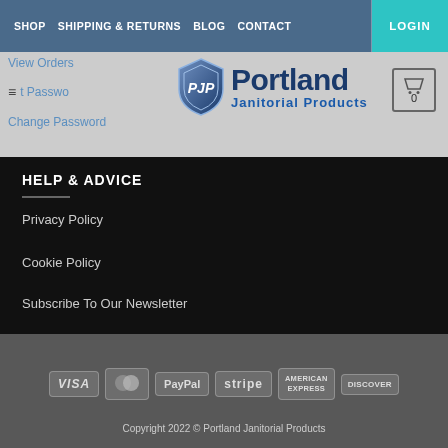SHOP  SHIPPING & RETURNS  BLOG  CONTACT  LOGIN
[Figure (logo): Portland Janitorial Products logo with shield emblem and cart icon showing 0]
View Orders
≡ t Password
Change Password
HELP & ADVICE
Privacy Policy
Cookie Policy
Subscribe To Our Newsletter
[Figure (infographic): Payment method icons: VISA, MasterCard, PayPal, stripe, AMERICAN EXPRESS, DISCOVER]
Copyright 2022 © Portland Janitorial Products